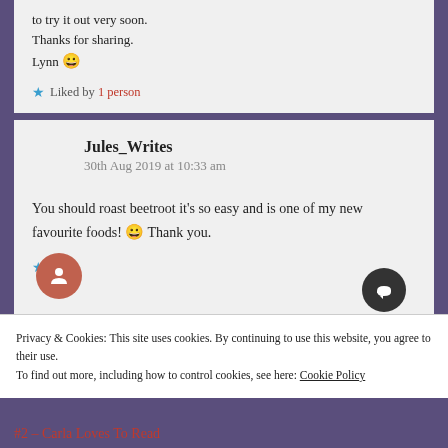to try it out very soon.
Thanks for sharing.
Lynn 😀
★ Liked by 1 person
Jules_Writes
30th Aug 2019 at 10:33 am
You should roast beetroot it's so easy and is one of my new favourite foods! 😀 Thank you.
★ Like
Privacy & Cookies: This site uses cookies. By continuing to use this website, you agree to their use.
To find out more, including how to control cookies, see here: Cookie Policy
Close and accept
#2 – Carla Loves To Read